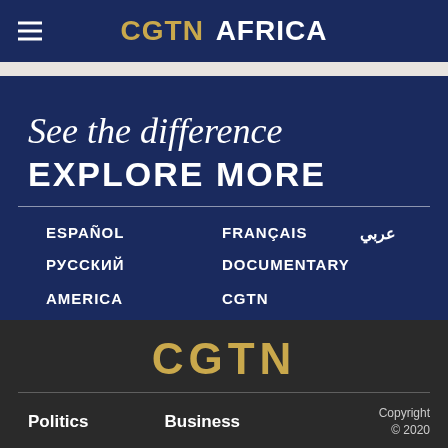CGTN AFRICA
See the difference EXPLORE MORE
ESPAÑOL
FRANÇAIS
عربي
РУССКИЙ
DOCUMENTARY
AMERICA
CGTN
[Figure (logo): CGTN logo in gold text on dark background]
Politics  Business  Copyright © 2020